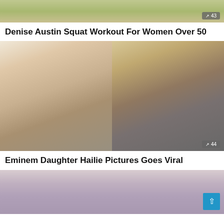[Figure (photo): Partial photo of woman in yellow-green bikini top, cropped at top of page, with trending badge showing 43]
Denise Austin Squat Workout For Women Over 50
[Figure (photo): Two-panel photo: left shows young blonde woman selfie, right shows Eminem with young blonde child, with trending badge showing 44]
Eminem Daughter Hailie Pictures Goes Viral
[Figure (photo): Partial photo of man wearing pink turban, cropped at bottom of page]